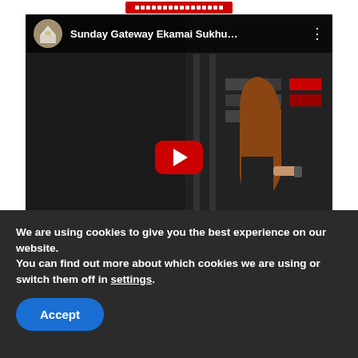[Figure (screenshot): YouTube video embed showing 'Sunday Gateway Ekamai Sukhu...' with a play button overlay, dark video thumbnail with a woman and store background, and watermark text 'TEWAY' and 'KAMAI' in the lower left]
We are using cookies to give you the best experience on our website.
You can find out more about which cookies we are using or switch them off in settings.
Accept